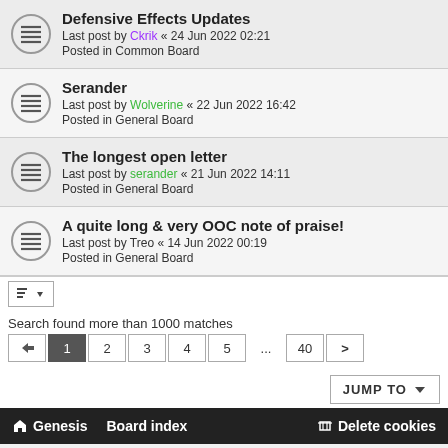Defensive Effects Updates
Last post by Ckrik « 24 Jun 2022 02:21
Posted in Common Board
Serander
Last post by Wolverine « 22 Jun 2022 16:42
Posted in General Board
The longest open letter
Last post by serander « 21 Jun 2022 14:11
Posted in General Board
A quite long & very OOC note of praise!
Last post by Treo « 14 Jun 2022 00:19
Posted in General Board
Search found more than 1000 matches  1  2  3  4  5  ...  40  >
JUMP TO
Genesis   Board index   Delete cookies
Flat Style by Ian Bradley, modified for Genesis by Cherek